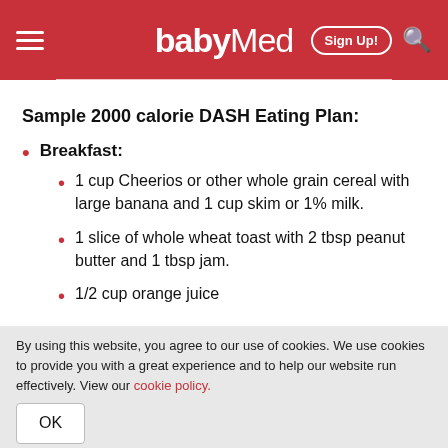babyMed – Sign Up!
Sample 2000 calorie DASH Eating Plan:
Breakfast:
1 cup Cheerios or other whole grain cereal with large banana and 1 cup skim or 1% milk.
1 slice of whole wheat toast with 2 tbsp peanut butter and 1 tbsp jam.
1/2 cup orange juice
By using this website, you agree to our use of cookies. We use cookies to provide you with a great experience and to help our website run effectively. View our cookie policy.
OK